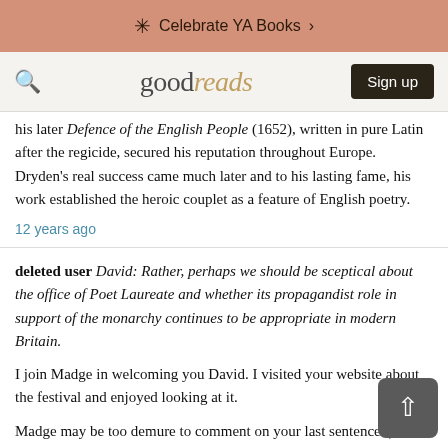Celebrate YA Books >
goodreads  Sign up
his later Defence of the English People (1652), written in pure Latin after the regicide, secured his reputation throughout Europe. Dryden's real success came much later and to his lasting fame, his work established the heroic couplet as a feature of English poetry.
12 years ago
deleted user David: Rather, perhaps we should be sceptical about the office of Poet Laureate and whether its propagandist role in support of the monarchy continues to be appropriate in modern Britain.

I join Madge in welcoming you David. I visited your website about the festival and enjoyed looking at it.

Madge may be too demure to comment on your last sentence ;) , but I am not.